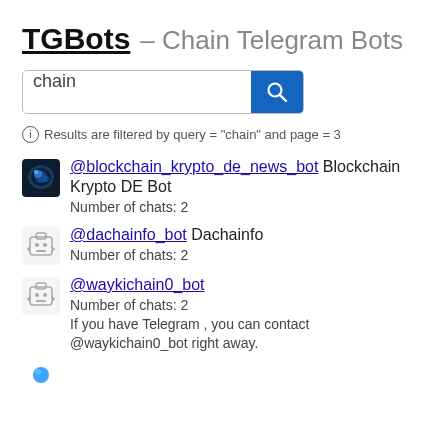TGBots – Chain Telegram Bots
[Figure (screenshot): Search bar with text 'chain' and blue search button with magnifying glass icon]
Results are filtered by query = "chain" and page = 3
@blockchain_krypto_de_news_bot Blockchain Krypto DE Bot — Number of chats: 2
@dachainfo_bot Dachainfo — Number of chats: 2
@waykichain0_bot — Number of chats: 2 — If you have Telegram , you can contact @waykichain0_bot right away.